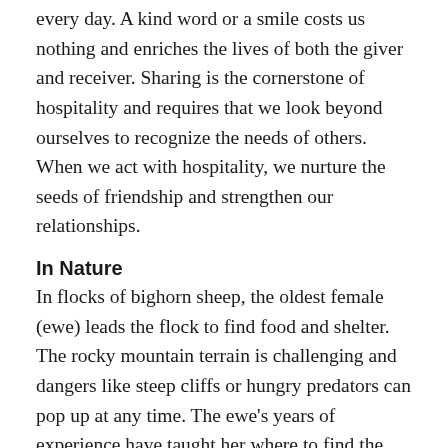every day. A kind word or a smile costs us nothing and enriches the lives of both the giver and receiver. Sharing is the cornerstone of hospitality and requires that we look beyond ourselves to recognize the needs of others. When we act with hospitality, we nurture the seeds of friendship and strengthen our relationships.
In Nature
In flocks of bighorn sheep, the oldest female (ewe) leads the flock to find food and shelter. The rocky mountain terrain is challenging and dangers like steep cliffs or hungry predators can pop up at any time. The ewe's years of experience have taught her where to find the best pastures and the safest places. The other sheep follow her